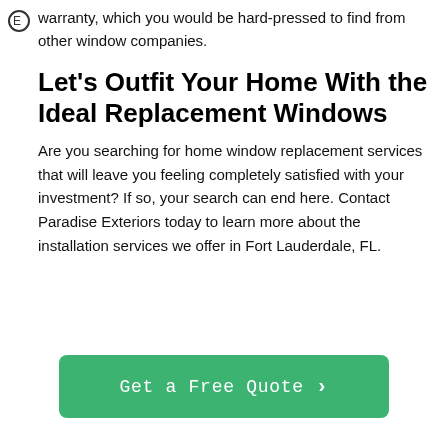warranty, which you would be hard-pressed to find from other window companies.
Let’s Outfit Your Home With the Ideal Replacement Windows
Are you searching for home window replacement services that will leave you feeling completely satisfied with your investment? If so, your search can end here. Contact Paradise Exteriors today to learn more about the installation services we offer in Fort Lauderdale, FL.
[Figure (other): Green CTA button reading 'Get a Free Quote >']